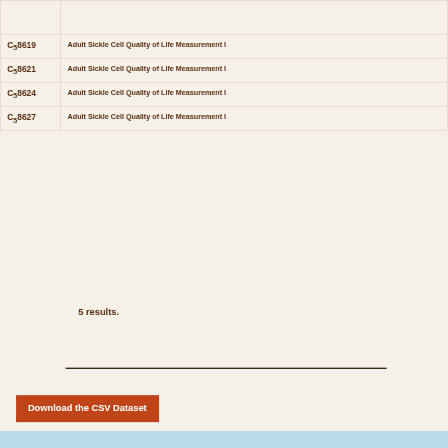| ID | Name |
| --- | --- |
|  |  |
| C58619 | Adult Sickle Cell Quality of Life Measurement I |
| C58621 | Adult Sickle Cell Quality of Life Measurement I |
| C58624 | Adult Sickle Cell Quality of Life Measurement I |
| C58627 | Adult Sickle Cell Quality of Life Measurement I |
5 results.
Download the CSV Dataset